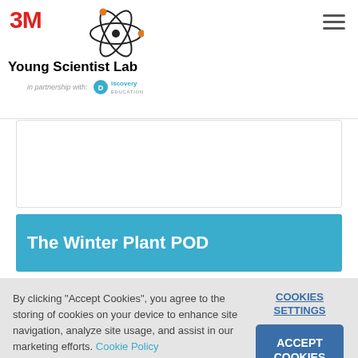3M Young Scientist Lab — in partnership with Discovery Education
The Winter Plant POD
By clicking "Accept Cookies", you agree to the storing of cookies on your device to enhance site navigation, analyze site usage, and assist in our marketing efforts. Cookie Policy
COOKIES SETTINGS
ACCEPT COOKIES